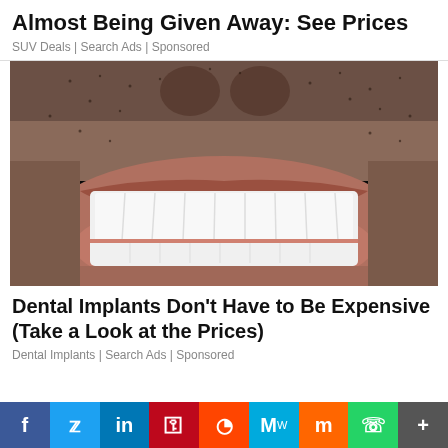Almost Being Given Away: See Prices
SUV Deals | Search Ads | Sponsored
[Figure (photo): Close-up photo of a man smiling showing very white dental implants/veneers, with facial stubble visible]
Dental Implants Don't Have to Be Expensive (Take a Look at the Prices)
Dental Implants | Search Ads | Sponsored
[Figure (infographic): Social media sharing bar with icons: Facebook, Twitter, LinkedIn, Pinterest, Reddit, MeWe, Mix, WhatsApp, More]